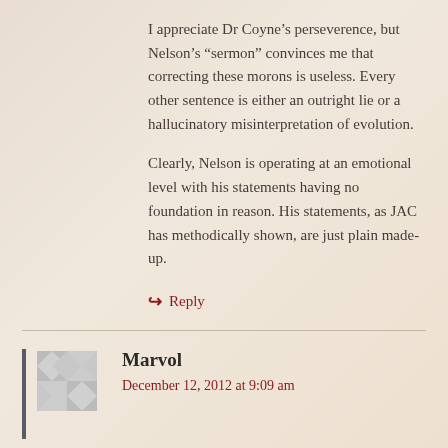I appreciate Dr Coyne's perseverence, but Nelson's “sermon” convinces me that correcting these morons is useless. Every other sentence is either an outright lie or a hallucinatory misinterpretation of evolution.
Clearly, Nelson is operating at an emotional level with his statements having no foundation in reason. His statements, as JAC has methodically shown, are just plain made-up.
↪ Reply
Marvol
December 12, 2012 at 9:09 am
Very good point. In the end, these are the people that believe the Bible is the word of God – because it says so. Or that Jesus existed and was God’s son – because Marc says it, and Matthew, and… And that marriage is